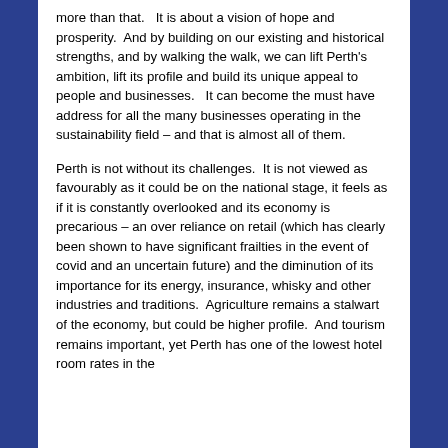more than that.   It is about a vision of hope and prosperity.  And by building on our existing and historical strengths, and by walking the walk, we can lift Perth's ambition, lift its profile and build its unique appeal to people and businesses.   It can become the must have address for all the many businesses operating in the sustainability field – and that is almost all of them.
Perth is not without its challenges.  It is not viewed as favourably as it could be on the national stage, it feels as if it is constantly overlooked and its economy is precarious – an over reliance on retail (which has clearly been shown to have significant frailties in the event of covid and an uncertain future) and the diminution of its importance for its energy, insurance, whisky and other industries and traditions.  Agriculture remains a stalwart of the economy, but could be higher profile.  And tourism remains important, yet Perth has one of the lowest hotel room rates in the